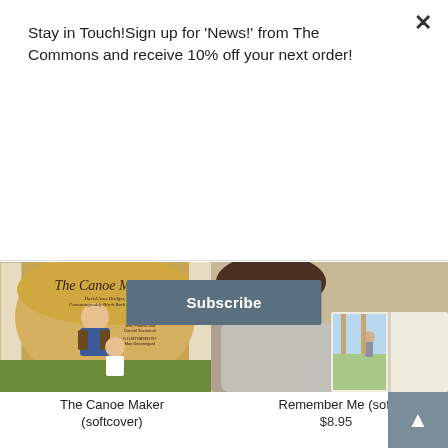Stay in Touch!Sign up for 'News!' from The Commons and receive 10% off your next order!
Subscribe
[Figure (photo): Book cover of 'The Canoe Maker' showing a man and child with birch bark, illustrated children's book]
[Figure (photo): Child reading a book lying down, photo showing open illustrated pages]
The Canoe Maker (softcover)
Remember Me (softcover)
$8.95